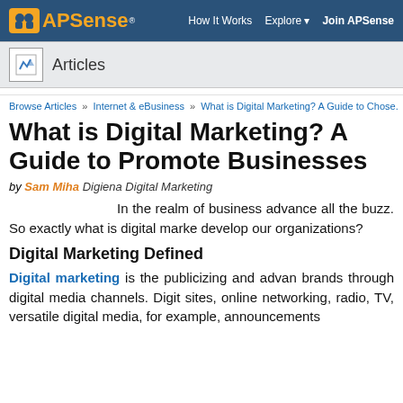APSense® | How It Works | Explore | Join APSense
Articles
Browse Articles » Internet & eBusiness » What is Digital Marketing? A Guide to Chose.
What is Digital Marketing? A Guide to Promote Businesses
by Sam Miha Digiena Digital Marketing
In the realm of business advance all the buzz. So exactly what is digital marke develop our organizations?
Digital Marketing Defined
Digital marketing is the publicizing and advan brands through digital media channels. Digit sites, online networking, radio, TV, versatile digital media, for example, announcements